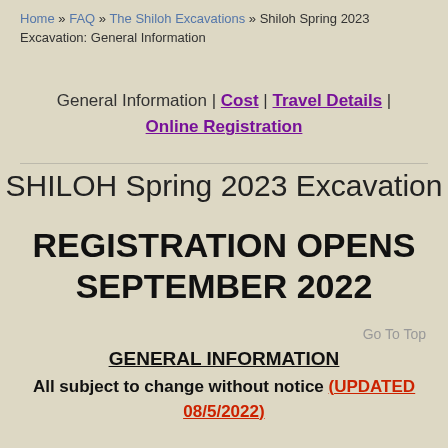Home » FAQ » The Shiloh Excavations » Shiloh Spring 2023 Excavation: General Information
General Information | Cost | Travel Details | Online Registration
SHILOH Spring 2023 Excavation
REGISTRATION OPENS SEPTEMBER 2022
Go To Top
GENERAL INFORMATION
All subject to change without notice (UPDATED 08/5/2022)